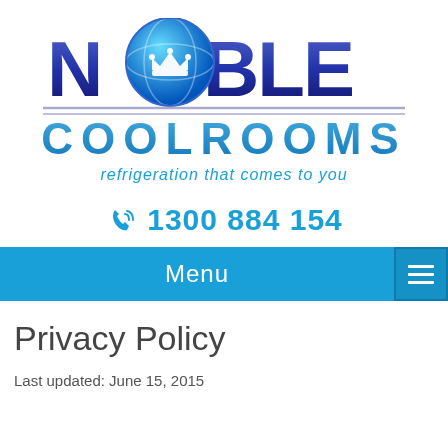[Figure (logo): Noble Coolrooms logo with crown icon, blue gradient text NOBLE on top, horizontal silver lines, COOLROOMS text below, tagline 'refrigeration that comes to you']
1300 884 154
Menu
Privacy Policy
Last updated: June 15, 2015